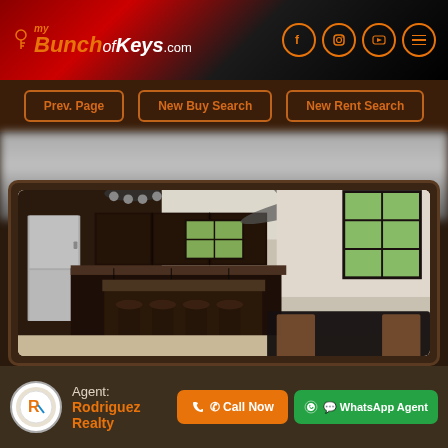myBunchofKeys.com — navigation header with social icons (Facebook, Instagram, YouTube, Menu)
Prev. Page | New Buy Search | New Rent Search
[Figure (photo): Interior photo of a modern kitchen/dining area with dark wood cabinets, stainless steel fridge, kitchen island with bar stools, ceiling fan, and a black dining table with chairs in the foreground. Windows with dark frames visible.]
Agent: Rodriguez Realty
Call Now | WhatsApp Agent